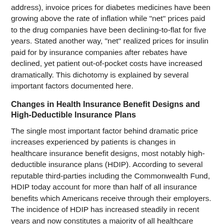address), invoice prices for diabetes medicines have been growing above the rate of inflation while "net" prices paid to the drug companies have been declining-to-flat for five years. Stated another way, "net" realized prices for insulin paid for by insurance companies after rebates have declined, yet patient out-of-pocket costs have increased dramatically. This dichotomy is explained by several important factors documented here.
Changes in Health Insurance Benefit Designs and High-Deductible Insurance Plans
The single most important factor behind dramatic price increases experienced by patients is changes in healthcare insurance benefit designs, most notably high-deductible insurance plans (HDIP). According to several reputable third-parties including the Commonwealth Fund, HDIP today account for more than half of all insurance benefits which Americans receive through their employers. The incidence of HDIP has increased steadily in recent years and now constitutes a majority of all healthcare plans in 2020. That explains why more Americans are acutely more sensitive to